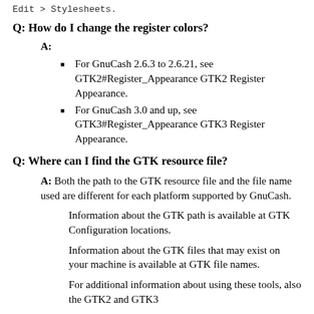Edit > Stylesheets.
Q: How do I change the register colors?
A:
For GnuCash 2.6.3 to 2.6.21, see GTK2#Register_Appearance GTK2 Register Appearance.
For GnuCash 3.0 and up, see GTK3#Register_Appearance GTK3 Register Appearance.
Q: Where can I find the GTK resource file?
A: Both the path to the GTK resource file and the file name used are different for each platform supported by GnuCash.
Information about the GTK path is available at GTK Configuration locations.
Information about the GTK files that may exist on your machine is available at GTK file names.
For additional information about using these tools, also the GTK2 and GTK3